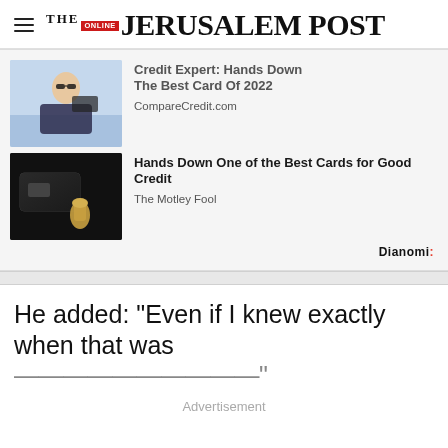THE JERUSALEM POST
[Figure (photo): Ad: Woman holding a credit card and phone. Title: Credit Expert: Hands Down The Best Card Of 2022. Source: CompareCredit.com]
[Figure (photo): Ad: Black credit card with gold figure. Title: Hands Down One of the Best Cards for Good Credit. Source: The Motley Fool]
Dianomi
He added: "Even if I knew exactly when that was
Advertisement